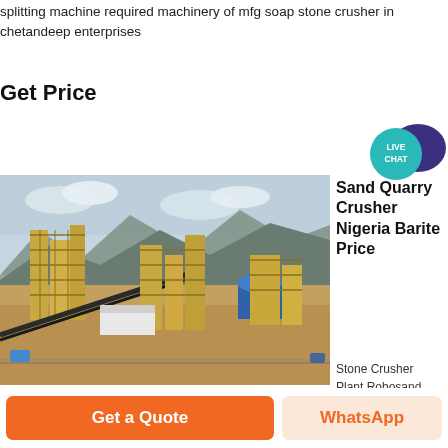splitting machine required machinery of mfg soap stone crusher in chetandeep enterprises
Get Price
[Figure (photo): Aerial view of a large industrial stone crusher plant with yellow steel structures, conveyor belts, and machinery set against a mountainous landscape.]
Sand Quarry Crusher Nigeria Barite Price
Stone Crusher
Plant Robosand
Making Machine
Stone Crusher
Plant Ask Price
We are dealing
in Stone Crusher Plant Brochure Lakshmi Engineering Works Pul Pehlad Pur
mining panies in vietnam Overview of Vietnam s Mining Industry SES
Get a Quote
WhatsApp